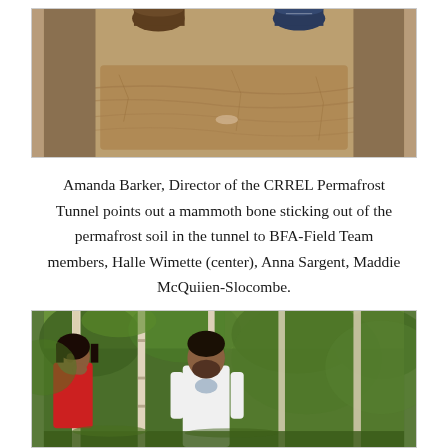[Figure (photo): Close-up of sandy permafrost soil in a tunnel trench, with two people standing at the edges — one wearing brown boots on the left, one wearing blue sneakers on the right.]
Amanda Barker, Director of the CRREL Permafrost Tunnel points out a mammoth bone sticking out of the permafrost soil in the tunnel to BFA-Field Team members, Halle Wimette (center), Anna Sargent, Maddie McQuiien-Slocombe.
[Figure (photo): Two people standing among birch trees in a green forest. A woman with dark hair and a red jacket is on the left, and a bearded man in a white t-shirt is in the center. Dense green foliage surrounds them.]